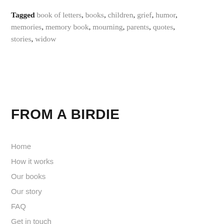Tagged book of letters, books, children, grief, humor, memories, memory book, mourning, parents, quotes, stories, widow
FROM A BIRDIE
Home
How it works
Our books
Our story
FAQ
Get in touch